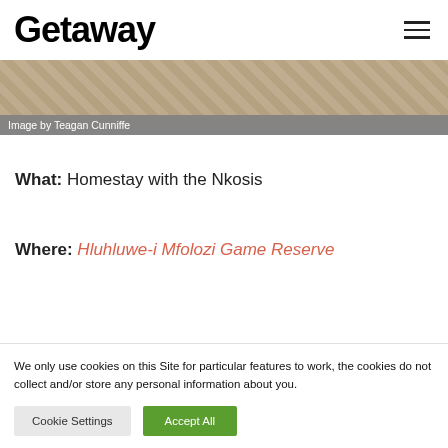Getaway
[Figure (photo): Partial view of an image with a woven/textile pattern, with caption 'Image by Teagan Cunniffe' on a grey overlay bar.]
Image by Teagan Cunniffe
What: Homestay with the Nkosis
Where: Hluhluwe-i Mfolozi Game Reserve
We only use cookies on this Site for particular features to work, the cookies do not collect and/or store any personal information about you.